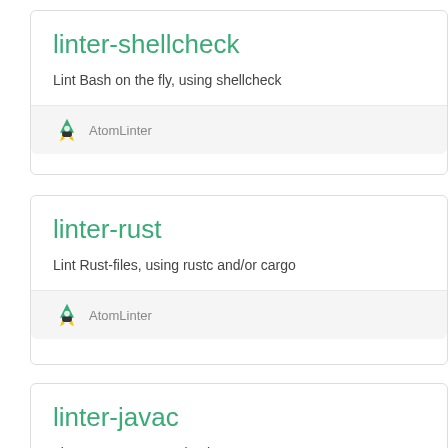linter-shellcheck
Lint Bash on the fly, using shellcheck
AtomLinter
linter-rust
Lint Rust-files, using rustc and/or cargo
AtomLinter
linter-javac
Lint Java on save, using javac.